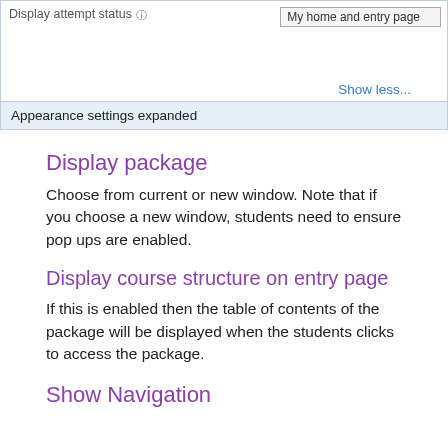[Figure (screenshot): UI screenshot showing 'Display attempt status' row with 'My home and entry page' dropdown, a 'Show less...' link, and a light blue 'Appearance settings expanded' bar at the bottom.]
Display package
Choose from current or new window. Note that if you choose a new window, students need to ensure pop ups are enabled.
Display course structure on entry page
If this is enabled then the table of contents of the package will be displayed when the students clicks to access the package.
Show Navigation